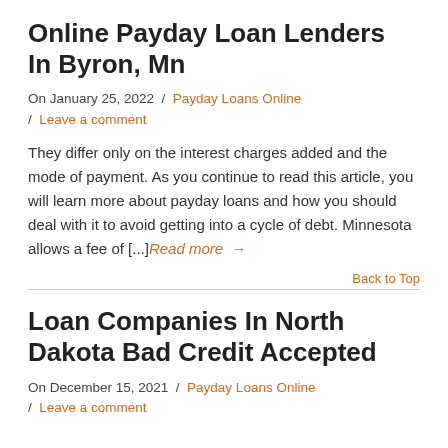Online Payday Loan Lenders In Byron, Mn
On January 25, 2022  /  Payday Loans Online  /  Leave a comment
They differ only on the interest charges added and the mode of payment. As you continue to read this article, you will learn more about payday loans and how you should deal with it to avoid getting into a cycle of debt. Minnesota allows a fee of [...]Read more →
Back to Top
Loan Companies In North Dakota Bad Credit Accepted
On December 15, 2021  /  Payday Loans Online  /  Leave a comment